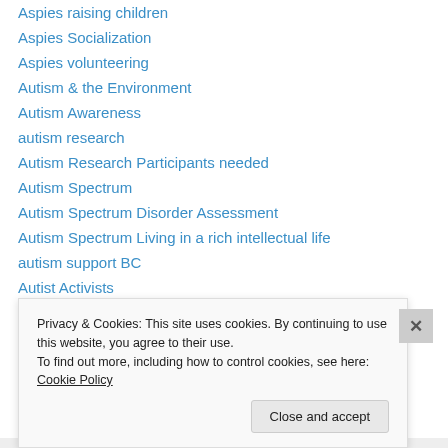Aspies raising children
Aspies Socialization
Aspies volunteering
Autism & the Environment
Autism Awareness
autism research
Autism Research Participants needed
Autism Spectrum
Autism Spectrum Disorder Assessment
Autism Spectrum Living in a rich intellectual life
autism support BC
Autist Activists
Autistics Loving yourself
Privacy & Cookies: This site uses cookies. By continuing to use this website, you agree to their use.
To find out more, including how to control cookies, see here: Cookie Policy
Close and accept